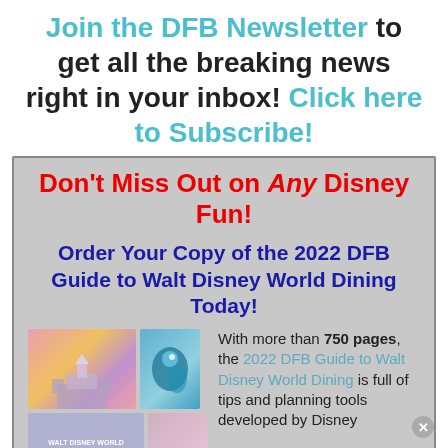Join the DFB Newsletter to get all the breaking news right in your inbox! Click here to Subscribe!
Don't Miss Out on Any Disney Fun!
Order Your Copy of the 2022 DFB Guide to Walt Disney World Dining Today!
[Figure (photo): Images of Disney castle at sunset and a Disney fish character, plus the 2022 Walt Disney World Dining book cover]
With more than 750 pages, the 2022 DFB Guide to Walt Disney World Dining is full of tips and planning tools developed by Disney